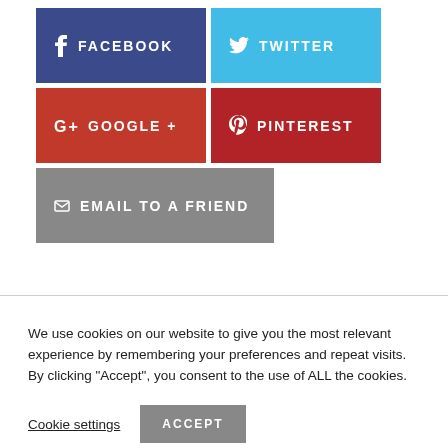[Figure (infographic): Social media sharing buttons: Facebook (dark blue), Twitter (cyan), Google+ (red), Pinterest (dark red), and Email to a Friend (grey)]
We use cookies on our website to give you the most relevant experience by remembering your preferences and repeat visits. By clicking “Accept”, you consent to the use of ALL the cookies.
Cookie settings
ACCEPT